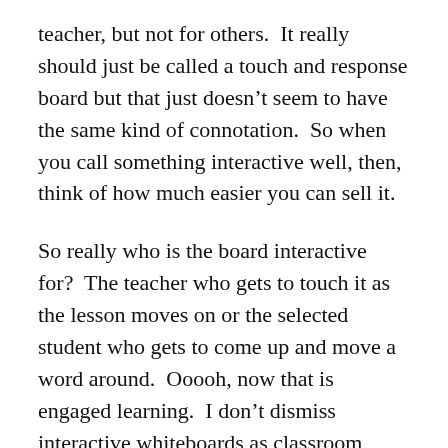teacher, but not for others.  It really should just be called a touch and response board but that just doesn't seem to have the same kind of connotation.  So when you call something interactive well, then, think of how much easier you can sell it.
So really who is the board interactive for?  The teacher who gets to touch it as the lesson moves on or the selected student who gets to come up and move a word around.  Ooooh, now that is engaged learning.  I don't dismiss interactive whiteboards as classroom tools altogether but I do dismiss the notion that they are the ticket to reform our classrooms, to re-engage our learners, and teach our children.  Instead they lead themselves to more “sage on the stage” type of teaching where the teacher is in control